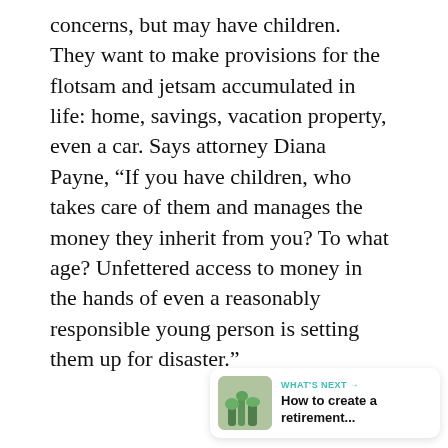concerns, but may have children. They want to make provisions for the flotsam and jetsam accumulated in life: home, savings, vacation property, even a car. Says attorney Diana Payne, “If you have children, who takes care of them and manages the money they inherit from you? To what age? Unfettered access to money in the hands of even a reasonably responsible young person is setting them up for disaster.”
[Figure (other): Heart (like) button UI element — teal circular button with heart icon, like count 1.2K below it, and a share button below that]
[Figure (other): WHAT'S NEXT card with thumbnail image of plants and text: How to create a retirement...]